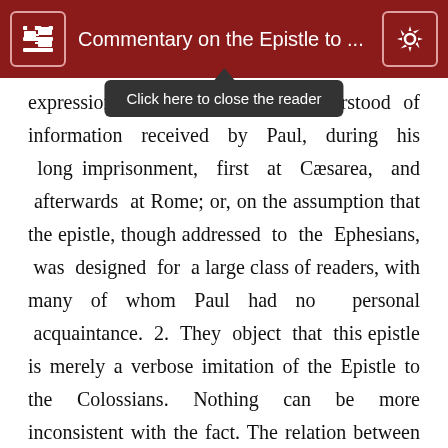Commentary on the Epistle to ...
Click here to close the reader
expressions ... nderstood of information received by Paul, during his long imprisonment, first at Cæsarea, and afterwards at Rome; or, on the assumption that the epistle, though addressed to the Ephesians, was designed for a large class of readers, with many of whom Paul had no personal acquaintance. 2. They object that this epistle is merely a verbose imitation of the Epistle to the Colossians. Nothing can be more inconsistent with the fact. The relation between the two epistles, instead of being a ground of objection against either, is a strong proof of the genuineness of both. Of this any reader may satisfy himself by a careful
xvi